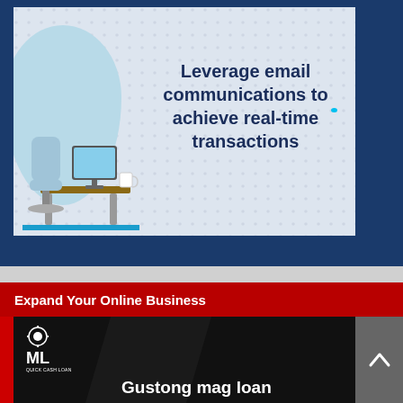[Figure (illustration): Promotional banner with a dotted light gray background, a blue blob shape on the left, a desk/workplace illustration, and bold dark blue text reading 'Leverage email communications to achieve real-time transactions'. Set against a dark blue outer border.]
Expand Your Online Business
[Figure (illustration): ML Quick Cash Loan promotional banner on a black/dark background with red surround, showing ML logo on the left and partial text 'Gustong mag loan' in bold white.]